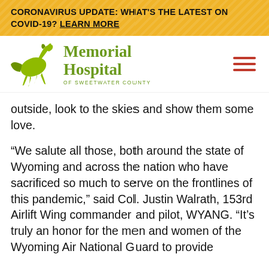CORONAVIRUS UPDATE: WHAT'S THE LATEST ON COVID-19? LEARN MORE
[Figure (logo): Memorial Hospital of Sweetwater County logo with galloping horse in olive/yellow-green and text]
outside, look to the skies and show them some love.
“We salute all those, both around the state of Wyoming and across the nation who have sacrificed so much to serve on the frontlines of this pandemic,” said Col. Justin Walrath, 153rd Airlift Wing commander and pilot, WYANG. “It’s truly an honor for the men and women of the Wyoming Air National Guard to provide